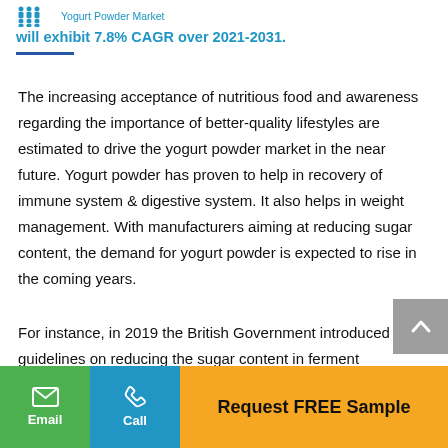Yogurt Powder Market will exhibit 7.8% CAGR over 2021-2031.
The increasing acceptance of nutritious food and awareness regarding the importance of better-quality lifestyles are estimated to drive the yogurt powder market in the near future. Yogurt powder has proven to help in recovery of immune system & digestive system. It also helps in weight management. With manufacturers aiming at reducing sugar content, the demand for yogurt powder is expected to rise in the coming years.
For instance, in 2019 the British Government introduced guidelines on reducing the sugar content in ferment
Email | Call | Request FREE Sample